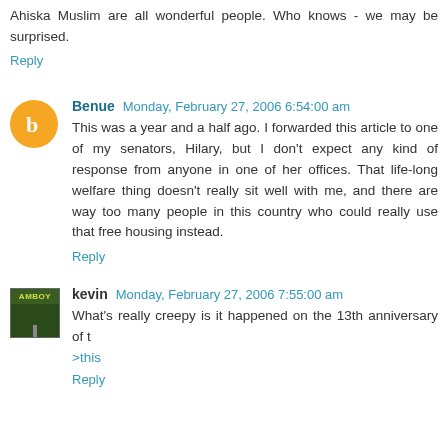Ahiska Muslim are all wonderful people. Who knows - we may be surprised.
Reply
Benue  Monday, February 27, 2006 6:54:00 am
This was a year and a half ago. I forwarded this article to one of my senators, Hilary, but I don't expect any kind of response from anyone in one of her offices. That life-long welfare thing doesn't really sit well with me, and there are way too many people in this country who could really use that free housing instead.
Reply
kevin  Monday, February 27, 2006 7:55:00 am
What's really creepy is it happened on the 13th anniversary of t
>this
Reply